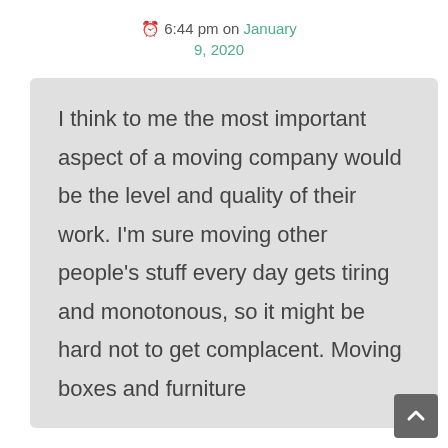🕐 6:44 pm on January 9, 2020
I think to me the most important aspect of a moving company would be the level and quality of their work. I'm sure moving other people's stuff every day gets tiring and monotonous, so it might be hard not to get complacent. Moving boxes and furniture